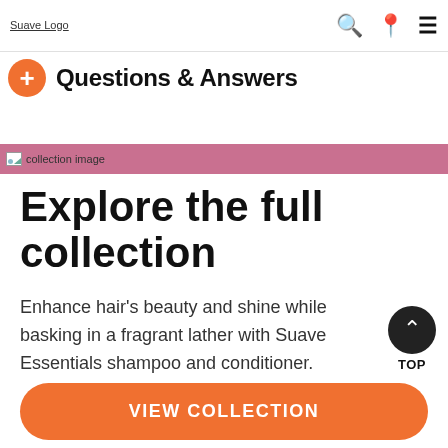Suave Logo | search | location | menu
+ Questions & Answers
[Figure (photo): collection image banner with pink/mauve background]
Explore the full collection
Enhance hair's beauty and shine while basking in a fragrant lather with Suave Essentials shampoo and conditioner.
VIEW COLLECTION